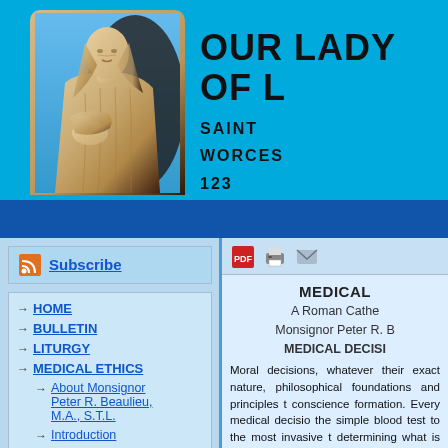[Figure (photo): Marble statue of the Virgin Mary holding the infant Jesus, set against a blue background in the website header]
OUR LADY OF L
SAINT
WORCES
123
WORCESTER
Subscribe
HOME
BULLETIN
LITURGY
MEDICAL ETHICS
About Monsignor Peter R. Beaulieu, M.A., S.T.L.
Introduction
Hippocratic Oath
MEDICAL DECISI
A Roman Cathe
Monsignor Peter R. B
MEDICAL DECISI
Moral decisions, whatever their exact nature, philosophical foundations and principles t conscience formation. Every medical decisio the simple blood test to the most invasive t determining what is the right thing to do, in a Western Christianity, Scholasticism was the d